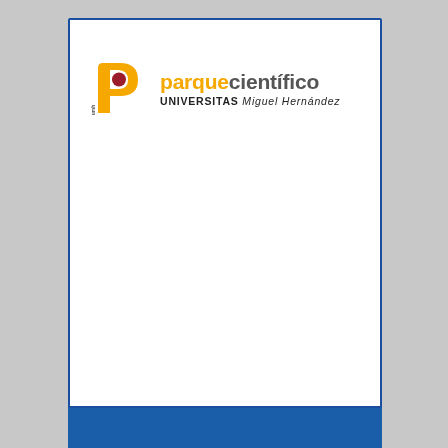[Figure (logo): Parque Científico Universitas Miguel Hernández logo: yellow P shape with red circle, text 'parquecientífico' in orange/gray bold, and 'UNIVERSITAS Miguel Hernández' below]